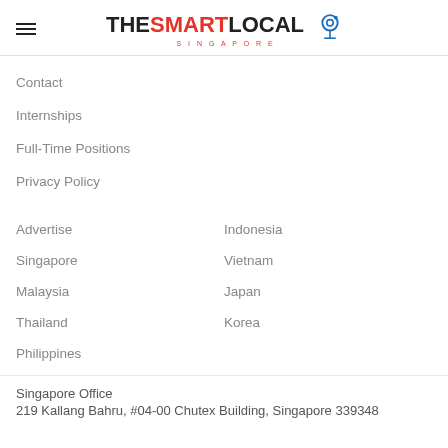THE SMART LOCAL SINGAPORE
Contact
Internships
Full-Time Positions
Privacy Policy
Advertise
Indonesia
Singapore
Vietnam
Malaysia
Japan
Thailand
Korea
Philippines
Singapore Office
219 Kallang Bahru, #04-00 Chutex Building, Singapore 339348